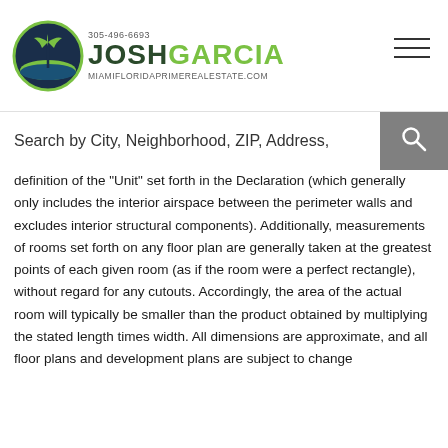[Figure (logo): Josh Garcia Miami Florida Prime Real Estate logo with circular emblem, phone number 305-496-6693, website miamifloridaprimerealestate.com]
Search by City, Neighborhood, ZIP, Address,
definition of the "Unit" set forth in the Declaration (which generally only includes the interior airspace between the perimeter walls and excludes interior structural components). Additionally, measurements of rooms set forth on any floor plan are generally taken at the greatest points of each given room (as if the room were a perfect rectangle), without regard for any cutouts. Accordingly, the area of the actual room will typically be smaller than the product obtained by multiplying the stated length times width. All dimensions are approximate, and all floor plans and development plans are subject to change